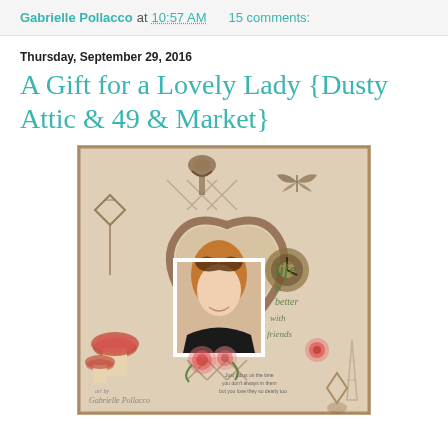Gabrielle Pollacco at 10:57 AM   15 comments:
Thursday, September 29, 2016
A Gift for a Lovely Lady {Dusty Attic & 49 & Market}
[Figure (photo): Scrapbook layout page featuring a woman's portrait photo centered in a decorative mixed-media frame with floral embellishments, mushrooms, butterflies, ornate clock, lace, and text reading 'life is better with friends'. Artist signature reads 'art by Gabrielle Pollacco'.]